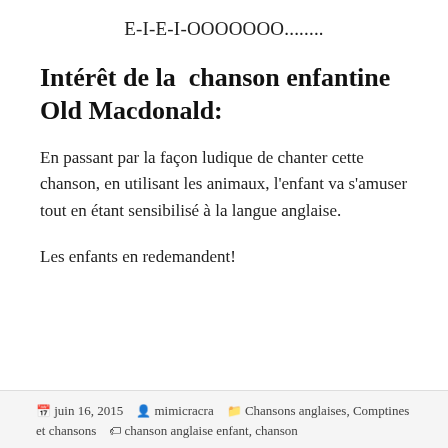E-I-E-I-OOOOOOO........
Intérêt de la  chanson enfantine Old Macdonald:
En passant par la façon ludique de chanter cette chanson, en utilisant les animaux, l'enfant va s'amuser tout en étant sensibilisé à la langue anglaise.
Les enfants en redemandent!
juin 16, 2015   mimicracra   Chansons anglaises, Comptines et chansons   chanson anglaise enfant, chanson